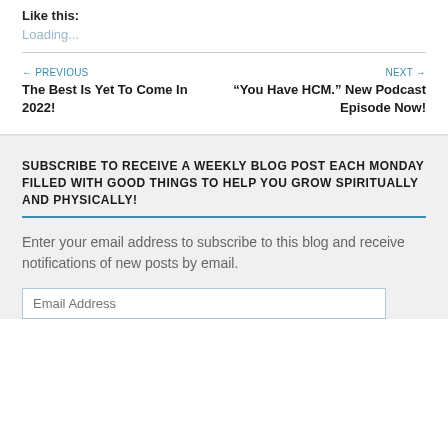Like this:
Loading...
← PREVIOUS
The Best Is Yet To Come In 2022!
NEXT →
"You Have HCM." New Podcast Episode Now!
SUBSCRIBE TO RECEIVE A WEEKLY BLOG POST EACH MONDAY FILLED WITH GOOD THINGS TO HELP YOU GROW SPIRITUALLY AND PHYSICALLY!
Enter your email address to subscribe to this blog and receive notifications of new posts by email.
Email Address